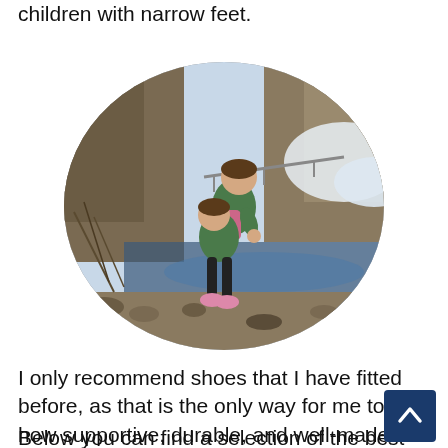children with narrow feet.
[Figure (photo): Two children, one carrying the other on their back, exploring a rocky creek or river in a narrow canyon with sparse winter vegetation. The image is cropped in an oval shape.]
I only recommend shoes that I have fitted before, as that is the only way for me to tell how supportive, durable, and well-made the shoes are.
Below you can find a selection of the best hiking